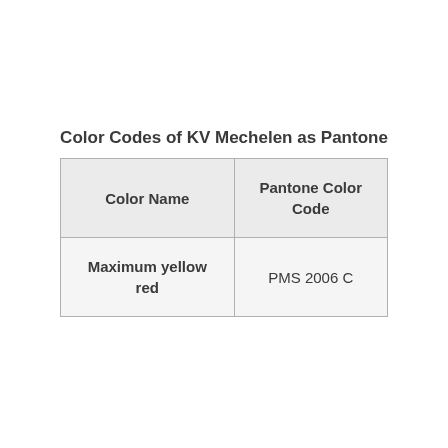Color Codes of KV Mechelen as Pantone
| Color Name | Pantone Color Code |
| --- | --- |
| Maximum yellow red | PMS 2006 C |